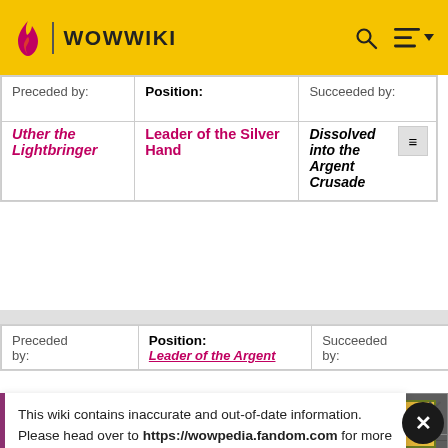WOWWIKI
| Preceded by: | Position: | Succeeded by: |
| --- | --- | --- |
| Uther the Lightbringer | Leader of the Silver Hand | Dissolved into the Argent Crusade |
| Preceded by: | Position: | Succeeded by: |
| --- | --- | --- |
| Foundation of the Ashen... | Leader of the Argent... | ...bnt |
This wiki contains inaccurate and out-of-date information. Please head over to https://wowpedia.fandom.com for more accurate and up-to-date game information.
[Figure (photo): Bacardi advertisement: bottle of Bacardi Superior rum with tropical fruits and text 'DO WHAT MOVES YOU' with a red SHOP NOW button]
| Preceded by: | Position: | Succeeded by: |
| --- | --- | --- |
|  |